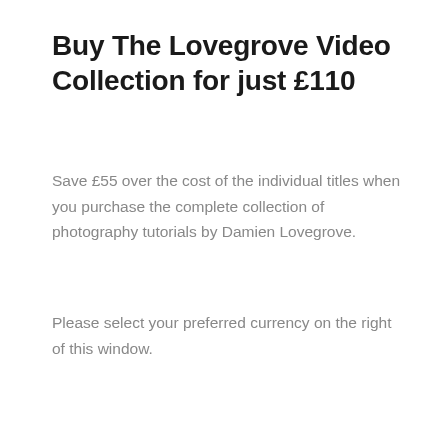Buy The Lovegrove Video Collection for just £110
Save £55 over the cost of the individual titles when you purchase the complete collection of photography tutorials by Damien Lovegrove.
Please select your preferred currency on the right of this window.
[Figure (other): UI elements: a beige/tan 'USD' currency selector button and a grey circular '+' button with a grey up-arrow/scroll-to-top button partially visible at the right edge of the page.]